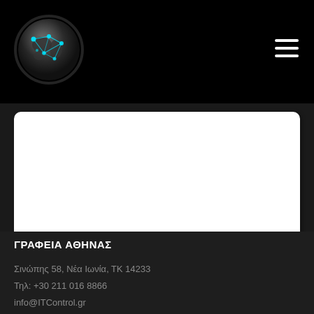[Figure (logo): Circular globe logo with network connections on black background, with hamburger menu icon on the right]
[Figure (screenshot): White textarea input field (empty), rounded corners]
Send
ΓΡΑΦΕΙΑ ΑΘΗΝΑΣ
Σινώπης 58, Νέα Ιωνία, ΤΚ 14233
Τηλ: +30 211 016 8866
info@ITControl.gr